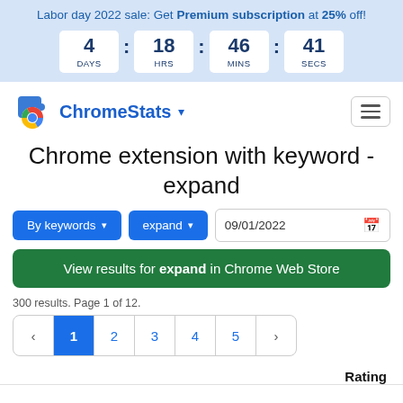Labor day 2022 sale: Get Premium subscription at 25% off! 4 DAYS : 18 HRS : 46 MINS : 41 SECS
[Figure (logo): ChromeStats logo with blue puzzle piece and Chrome icon]
Chrome extension with keyword - expand
By keywords ▾  expand ▾  09/01/2022
View results for expand in Chrome Web Store
300 results. Page 1 of 12.
Pagination: ‹ 1 2 3 4 5 ›
Rating